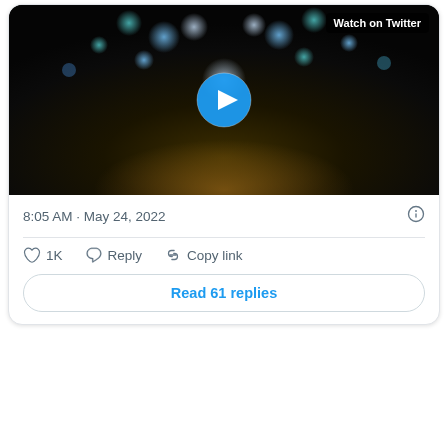[Figure (screenshot): Twitter/X video thumbnail with dark bokeh background, play button, and 'Watch on Twitter' label in top right.]
8:05 AM · May 24, 2022
♡ 1K   Reply   Copy link
Read 61 replies